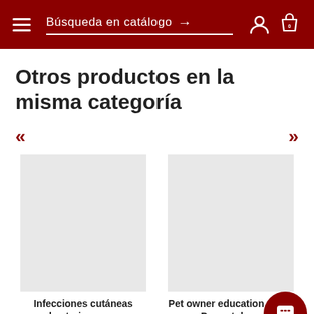Búsqueda en catálogo
Otros productos en la misma categoría
[Figure (screenshot): Navigation arrows (left «« and right »») for product carousel]
[Figure (photo): Product image placeholder for Infecciones cutáneas bacterianas en]
[Figure (photo): Product image placeholder for Pet owner education Atlas, Dermatology]
Infecciones cutáneas bacterianas en
Pet owner education Atlas, Dermatology